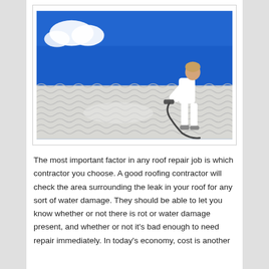[Figure (photo): A worker dressed in white stands on a corrugated metal roof, using a spray or pressure tool connected by a hose. The background shows a vivid blue sky with a small white cloud in the upper left.]
The most important factor in any roof repair job is which contractor you choose. A good roofing contractor will check the area surrounding the leak in your roof for any sort of water damage. They should be able to let you know whether or not there is rot or water damage present, and whether or not it's bad enough to need repair immediately. In today's economy, cost is another